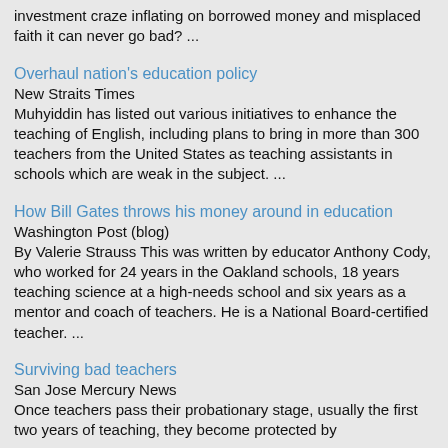investment craze inflating on borrowed money and misplaced faith it can never go bad? ...
Overhaul nation's education policy
New Straits Times
Muhyiddin has listed out various initiatives to enhance the teaching of English, including plans to bring in more than 300 teachers from the United States as teaching assistants in schools which are weak in the subject. ...
How Bill Gates throws his money around in education
Washington Post (blog)
By Valerie Strauss This was written by educator Anthony Cody, who worked for 24 years in the Oakland schools, 18 years teaching science at a high-needs school and six years as a mentor and coach of teachers. He is a National Board-certified teacher. ...
Surviving bad teachers
San Jose Mercury News
Once teachers pass their probationary stage, usually the first two years of teaching, they become protected by